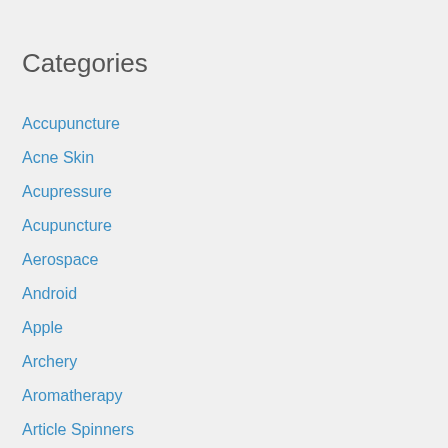Categories
Accupuncture
Acne Skin
Acupressure
Acupuncture
Aerospace
Android
Apple
Archery
Aromatherapy
Article Spinners
Autism
Automotive Technology